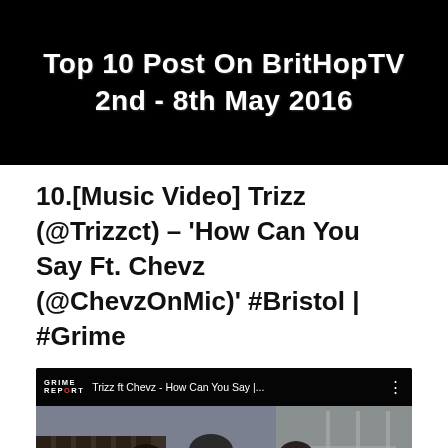[Figure (screenshot): Black banner image with white bold text reading 'Top 10 Post On BritHopTV 2nd - 8th May 2016']
10.[Music Video] Trizz (@Trizzct) – 'How Can You Say Ft. Chevz (@ChevzOnMic)' #Bristol | #Grime
[Figure (screenshot): YouTube video thumbnail showing 'Trizz ft Chevz - How Can You Say |...' with Grime Report logo, three young men outdoors with scaffolding in background, and a red YouTube play button overlay]